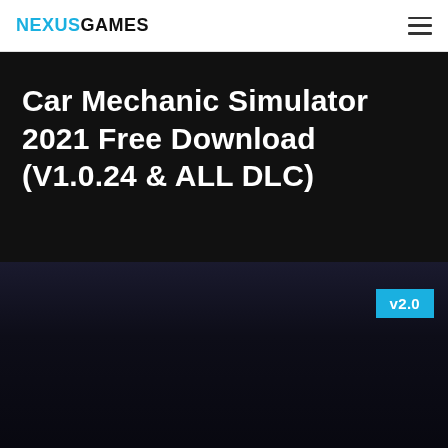NEXUSGAMES
Car Mechanic Simulator 2021 Free Download (V1.0.24 & ALL DLC)
v2.0